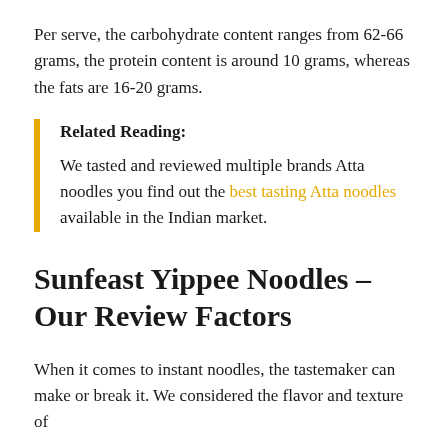Per serve, the carbohydrate content ranges from 62-66 grams, the protein content is around 10 grams, whereas the fats are 16-20 grams.
Related Reading:

We tasted and reviewed multiple brands Atta noodles you find out the best tasting Atta noodles available in the Indian market.
Sunfeast Yippee Noodles – Our Review Factors
When it comes to instant noodles, the tastemaker can make or break it. We considered the flavor and texture of